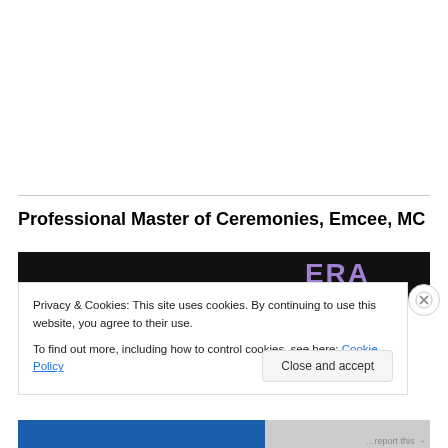Professional Master of Ceremonies, Emcee, MC
[Figure (photo): Dark background photo strip with partial text/logo visible in purple/blue letters, partially obscured by cookie consent banner]
Privacy & Cookies: This site uses cookies. By continuing to use this website, you agree to their use.
To find out more, including how to control cookies, see here: Cookie Policy
Close and accept